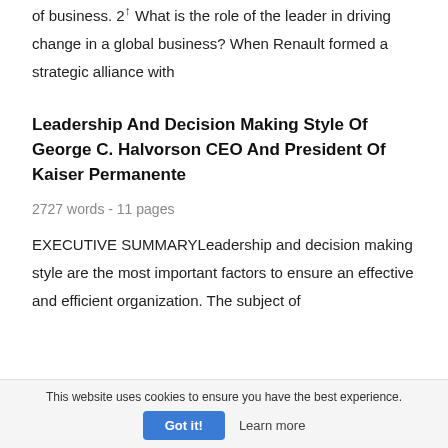of business. 2↑ What is the role of the leader in driving change in a global business? When Renault formed a strategic alliance with
Leadership And Decision Making Style Of George C. Halvorson CEO And President Of Kaiser Permanente
2727 words - 11 pages
EXECUTIVE SUMMARYLeadership and decision making style are the most important factors to ensure an effective and efficient organization. The subject of
This website uses cookies to ensure you have the best experience. Got it! Learn more